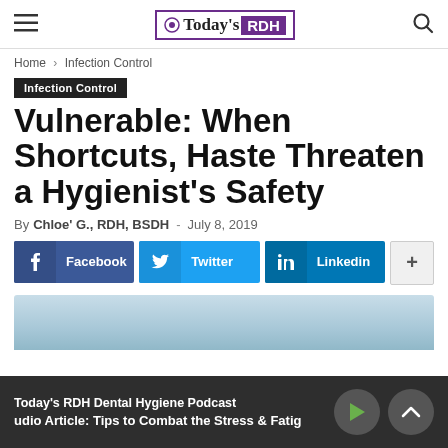Today's RDH
Home › Infection Control
Infection Control
Vulnerable: When Shortcuts, Haste Threaten a Hygienist's Safety
By Chloe' G., RDH, BSDH - July 8, 2019
[Figure (screenshot): Social sharing buttons for Facebook, Twitter, Linkedin, and more]
[Figure (photo): Partial article header image showing blue-toned dental/medical scene]
Today's RDH Dental Hygiene Podcast - Audio Article: Tips to Combat the Stress & Fatig